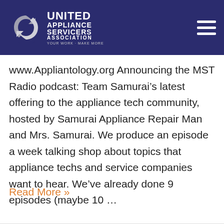[Figure (logo): United Appliance Servicers Association logo with swirl icon on dark navy blue header bar, with hamburger menu icon on right]
www.Appliantology.org Announcing the MST Radio podcast: Team Samurai’s latest offering to the appliance tech community, hosted by Samurai Appliance Repair Man and Mrs. Samurai. We produce an episode a week talking shop about topics that appliance techs and service companies want to hear. We’ve already done 9 episodes (maybe 10 …
Read More »